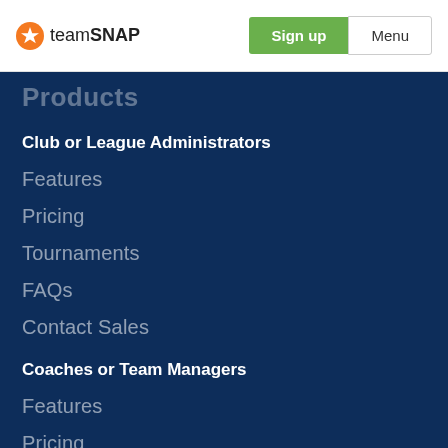[Figure (logo): TeamSnap logo with orange star icon and wordmark 'teamSNAP']
Sign up
Menu
Products
Club or League Administrators
Features
Pricing
Tournaments
FAQs
Contact Sales
Coaches or Team Managers
Features
Pricing
Tournaments
Get Started
Parents or Athletes